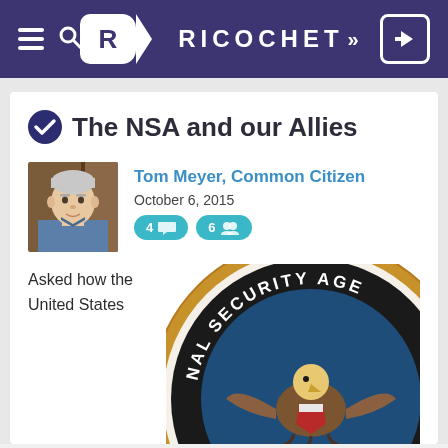RICOCHET >>
The NSA and our Allies
Tom Meyer, Common Citizen
October 6, 2015
4 comments · 6 members
[Figure (photo): Illustration portrait of Tom Meyer, a man with gray hair wearing a blue shirt, against a brown background]
Asked how the United States
[Figure (logo): Partial NSA (National Security Agency) seal/logo showing the circular seal with eagle and text around the border]